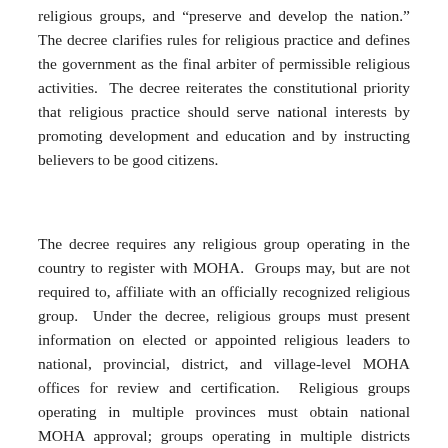religious groups, and "preserve and develop the nation." The decree clarifies rules for religious practice and defines the government as the final arbiter of permissible religious activities. The decree reiterates the constitutional priority that religious practice should serve national interests by promoting development and education and by instructing believers to be good citizens.
The decree requires any religious group operating in the country to register with MOHA. Groups may, but are not required to, affiliate with an officially recognized religious group. Under the decree, religious groups must present information on elected or appointed religious leaders to national, provincial, district, and village-level MOHA offices for review and certification. Religious groups operating in multiple provinces must obtain national MOHA approval; groups operating in multiple districts must obtain provincial-level approval; and groups operating in multiple villages are required to obtain district-level